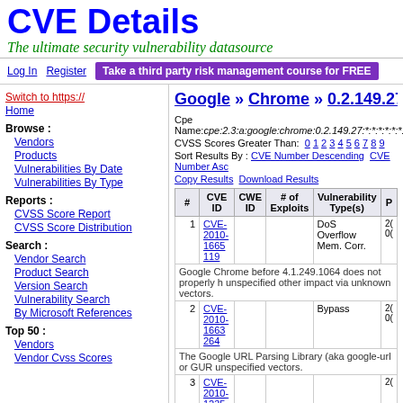CVE Details
The ultimate security vulnerability datasource
Log In   Register   Take a third party risk management course for FREE
Switch to https://
Home
Browse :
Vendors
Products
Vulnerabilities By Date
Vulnerabilities By Type
Reports :
CVSS Score Report
CVSS Score Distribution
Search :
Vendor Search
Product Search
Version Search
Vulnerability Search
By Microsoft References
Top 50 :
Vendors
Vendor Cvss Scores
Google » Chrome » 0.2.149.27 * * * :
Cpe Name:cpe:2.3:a:google:chrome:0.2.149.27:*:*:*:*:*:*:*
CVSS Scores Greater Than: 0 1 2 3 4 5 6 7 8 9
Sort Results By : CVE Number Descending  CVE Number Asc
Copy Results  Download Results
| # | CVE ID | CWE ID | # of Exploits | Vulnerability Type(s) |
| --- | --- | --- | --- | --- |
| 1 | CVE-2010-1665 119 |  | DoS Overflow Mem. Corr. | 2( 0( |
| 2 | CVE-2010-1663 264 |  | Bypass | 2( 0( |
| 3 | CVE-2010-1235 20 |  |  | 2( |
Google Chrome before 4.1.249.1064 does not properly h unspecified other impact via unknown vectors.
The Google URL Parsing Library (aka google-url or GUR unspecified vectors.